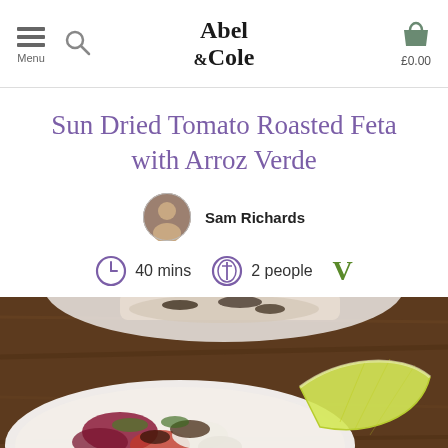Abel & Cole — Menu | £0.00
Sun Dried Tomato Roasted Feta with Arroz Verde
Sam Richards
40 mins   2 people   V
[Figure (photo): Food photo showing roasted feta with arroz verde, garnished with lemon wedge, on a plate on a wooden surface]